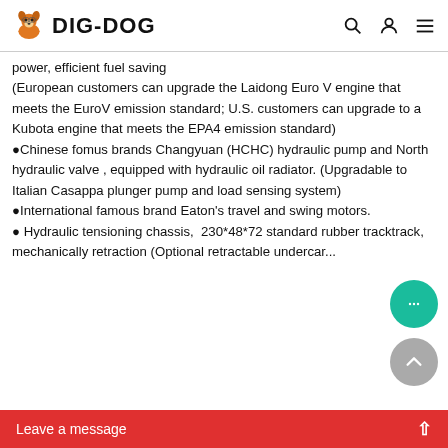DIG-DOG
power, efficient fuel saving
(European customers can upgrade the Laidong Euro V engine that meets the EuroV emission standard; U.S. customers can upgrade to a Kubota engine that meets the EPA4 emission standard)
●Chinese fomus brands Changyuan (HCHC) hydraulic pump and North hydraulic valve , equipped with hydraulic oil radiator. (Upgradable to Italian Casappa plunger pump and load sensing system)
●International famous brand Eaton's travel and swing motors.
● Hydraulic tensioning chassis, 230*48*72 standard rubber tracktrack, mechanically retraction(Optional retractable undercarriage)